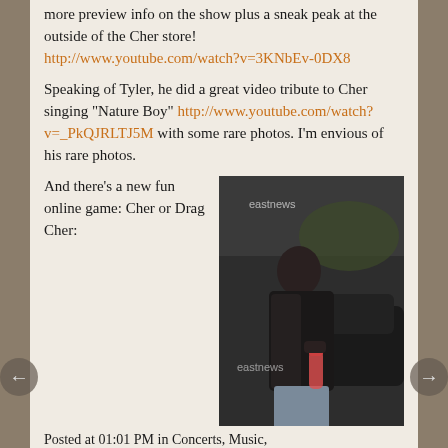more preview info on the show plus a sneak peak at the outside of the Cher store! http://www.youtube.com/watch?v=3KNbEv-0DX8
Speaking of Tyler, he did a great video tribute to Cher singing "Nature Boy" http://www.youtube.com/watch?v=_PkQJRLTJ5M with some rare photos. I'm envious of his rare photos.
[Figure (photo): Photo of Cher in Beverly Hills, wearing dark jacket and jeans, holding a drink bottle, with 'eastnews' watermark]
And there's a new fun online game: Cher or Drag Cher: http://cityrag.blogs.com/main/2008/02/cher-or-drag-ch.html. I missed one!!!
And here's a photo of Cher in Beverly Hills recently. I love her bun!
Posted at 01:01 PM in Concerts, Music,